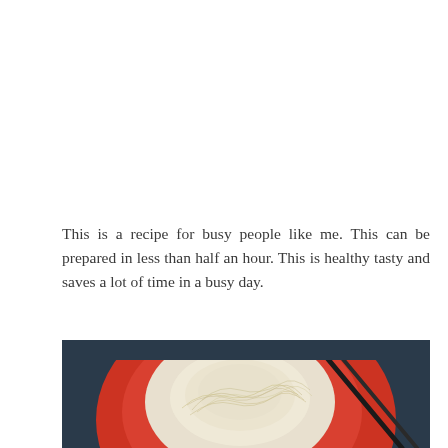This is a recipe for busy people like me. This can be prepared in less than half an hour. This is healthy tasty and saves a lot of time in a busy day.
[Figure (photo): Top-down photo of a red bowl containing noodles (thin, pale noodles piled in the center), with dark chopsticks resting across the bowl. The background is a dark blue-grey fabric.]